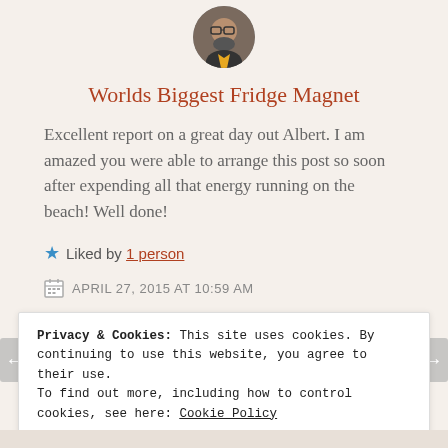[Figure (photo): Circular avatar photo of a bearded man with glasses]
Worlds Biggest Fridge Magnet
Excellent report on a great day out Albert. I am amazed you were able to arrange this post so soon after expending all that energy running on the beach! Well done!
★ Liked by 1 person
APRIL 27, 2015 AT 10:59 AM
Privacy & Cookies: This site uses cookies. By continuing to use this website, you agree to their use.
To find out more, including how to control cookies, see here: Cookie Policy
Close and accept